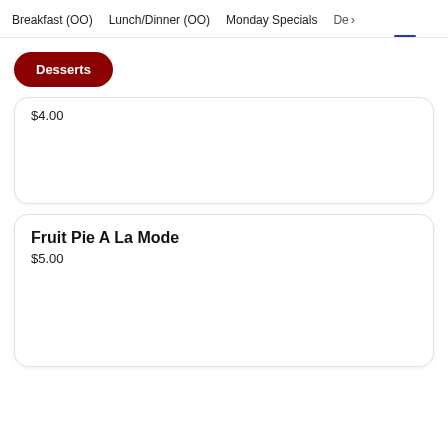Breakfast (OO)  Lunch/Dinner (OO)  Monday Specials  De >
Desserts
$4.00
Fruit Pie A La Mode
$5.00